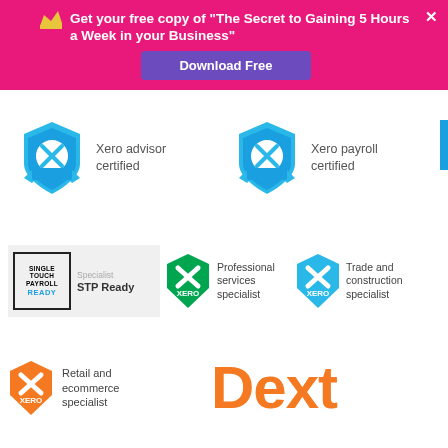Get your free copy of "The Secret to Gaining 5 Hours a Week in your Business"
Download Free
[Figure (logo): Xero advisor certified badge — blue shield with X in circle]
Xero advisor certified
[Figure (logo): Xero payroll certified badge — blue shield with X in circle]
Xero payroll certified
[Figure (logo): Single Touch Payroll Ready badge and Specialist STP Ready label]
[Figure (logo): Xero Professional services specialist badge]
Professional services specialist
[Figure (logo): Xero Trade and construction specialist badge]
Trade and construction specialist
[Figure (logo): Xero Retail and ecommerce specialist badge]
Retail and ecommerce specialist
[Figure (logo): Dext logo in orange]